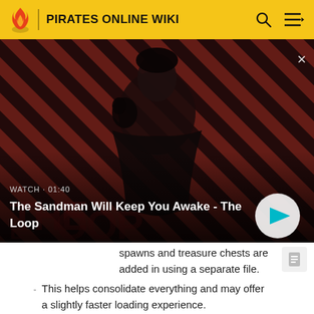PIRATES ONLINE WIKI
[Figure (screenshot): Video thumbnail showing a man in dark clothing with a black bird on his shoulder, against a red and black striped background. Text overlay reads: WATCH · 01:40 / The Sandman Will Keep You Awake - The Loop. A play button is visible on the right.]
spawns and treasure chests are added in using a separate file.
This helps consolidate everything and may offer a slightly faster loading experience.
Removed an extra prop that was added in due to a